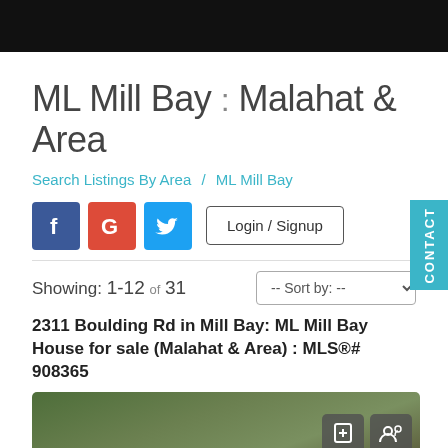ML Mill Bay : Malahat & Area
Search Listings By Area / ML Mill Bay
[Figure (screenshot): Social login buttons: Facebook (blue), Google (red), Twitter (cyan), and Login/Signup button]
Showing: 1-12 of 31
2311 Boulding Rd in Mill Bay: ML Mill Bay House for sale (Malahat & Area) : MLS®# 908365
[Figure (photo): Aerial or landscape photo of a property/house surrounded by trees in Mill Bay area]